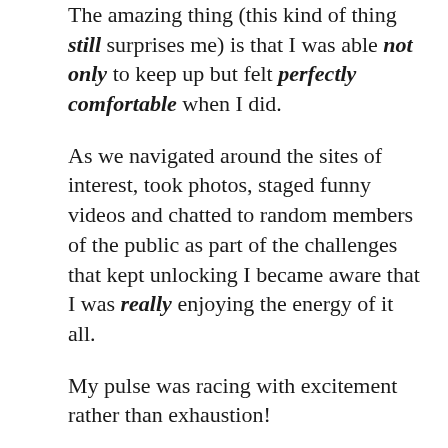The amazing thing (this kind of thing still surprises me) is that I was able not only to keep up but felt perfectly comfortable when I did.
As we navigated around the sites of interest, took photos, staged funny videos and chatted to random members of the public as part of the challenges that kept unlocking I became aware that I was really enjoying the energy of it all.
My pulse was racing with excitement rather than exhaustion!
As the two hour deadline assigned to us ticked down it also became apparent when the tablet started pinging that we were narrowly ahead in the rankings. When all of a sudden the